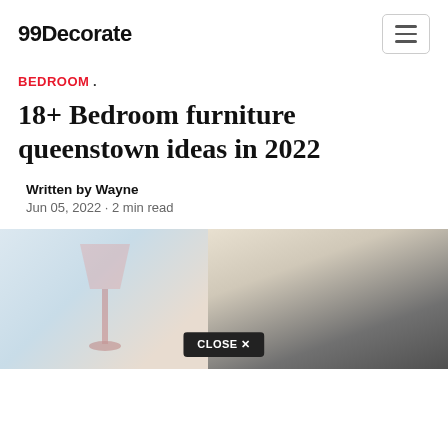99Decorate
BEDROOM .
18+ Bedroom furniture queenstown ideas in 2022
Written by Wayne
Jun 05, 2022 · 2 min read
[Figure (photo): A bedroom photo showing a lamp and dark headboard, partially visible, with a CLOSE X button overlay]